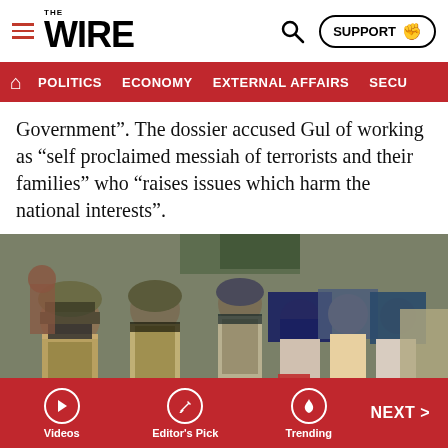THE WIRE — SUPPORT | POLITICS | ECONOMY | EXTERNAL AFFAIRS | SECU...
Government". The dossier accused Gul of working as “self proclaimed messiah of terrorists and their families” who “raises issues which harm the national interests”.
[Figure (photo): Security forces in helmets and body armor standing alongside civilian women in headscarves on a street, with shuttered shops in background.]
Videos | Editor's Pick | Trending | NEXT >